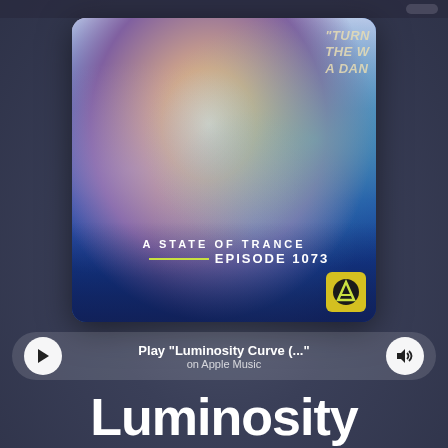[Figure (photo): Apple Music share card showing album artwork for 'A State of Trance Episode 1073' with a DJ wearing headphones around his neck and a black hoodie, smiling, with blue/green smoke effects and text 'TURN THE W A DAN' partially visible. Play button and volume button flank text 'Play Luminosity Curve (... on Apple Music'. Below: large white bold text reading 'Luminosity Curve (ASOT 1073) - Will']
Play "Luminosity Curve (…" on Apple Music
Luminosity Curve (ASOT 1073) - Will